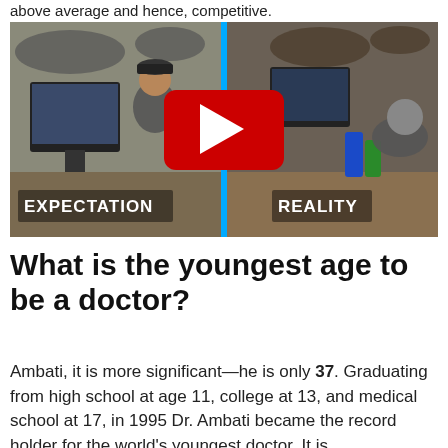above average and hence, competitive.
[Figure (photo): Split image showing 'Expectation' (person sitting upright at computer) vs 'Reality' (person slumped over desk with energy drinks) with a YouTube play button overlay and blue vertical divider.]
What is the youngest age to be a doctor?
Ambati, it is more significant—he is only 37. Graduating from high school at age 11, college at 13, and medical school at 17, in 1995 Dr. Ambati became the record holder for the world's youngest doctor. It is